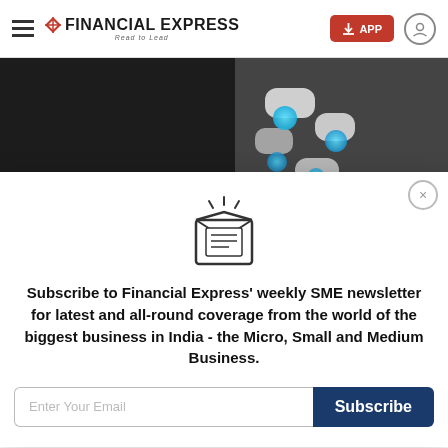Financial Express - Read to Lead
[Figure (photo): Top image strip showing feet/shoes standing on blue circular platforms on a dark surface]
[Figure (illustration): Newsletter envelope icon with letter and sparkle lines]
Subscribe to Financial Express' weekly SME newsletter for latest and all-round coverage from the world of the biggest business in India - the Micro, Small and Medium Business.
[Figure (photo): Bottom image strip showing gold jewelry/baskets in warm tones]
Latest | Money | Top News 25 | Share | NEXT STORY